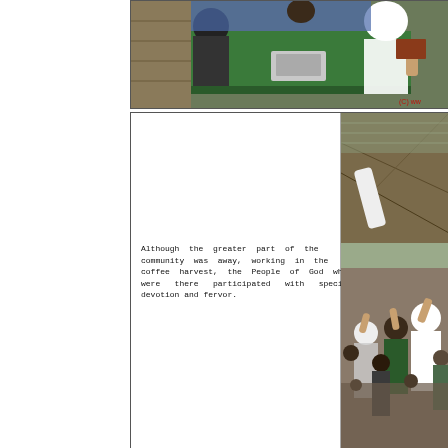[Figure (photo): Photo of a church/community gathering scene with people at a table covered with green cloth, a projector, and raised hands visible. Copyright watermark partially visible at bottom right corner.]
Although the greater part of the community was away, working in the coffee harvest, the People of God who were there participated with special devotion and fervor.
[Figure (photo): Photo of people inside a structure with wooden beam roof, arms raised in worship/prayer, congregation visible.]